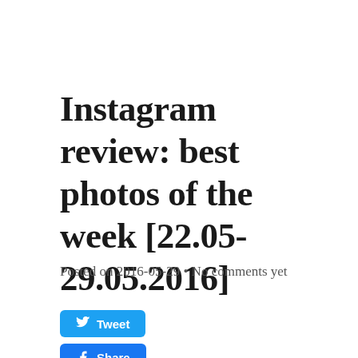Instagram review: best photos of the week [22.05-29.05.2016]
Posted on 2016-05-29 • No comments yet
[Figure (other): Tweet button (Twitter social share button, blue rounded rectangle with bird icon and 'Tweet' text) and Share button (Facebook social share button, blue rounded rectangle with Facebook icon and 'Share' text)]